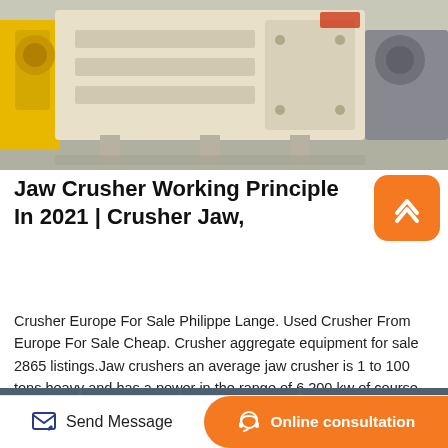[Figure (photo): Large industrial jaw crusher machine in a factory/warehouse setting, cream/beige colored, viewed from the front, sitting on a concrete floor]
Jaw Crusher Working Principle In 2021 | Crusher Jaw,
Crusher Europe For Sale Philippe Lange. Used Crusher From Europe For Sale Cheap. Crusher aggregate equipment for sale 2865 listings.Jaw crushers an average jaw crusher is 1 to 100 tons heavy and has a power in the range of 6 200 kw of course this also depends on the capacity which may range in between 1 and 1000...
[Figure (photo): Partial view of industrial machinery in a factory/warehouse, dark blue-gray tones]
Send Message
Online consultation